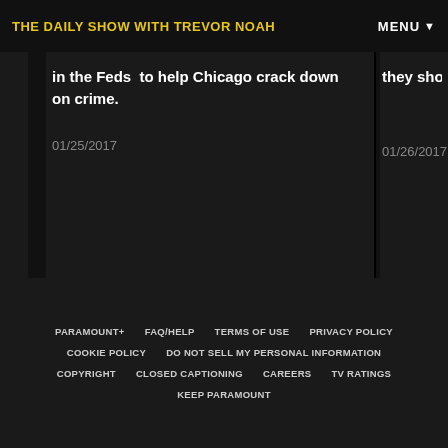THE DAILY SHOW WITH TREVOR NOAH | MENU
in the Feds  to help Chicago crack down on crime.
01/25/2017
they should b
01/26/2017
PARAMOUNT+ | FAQ/HELP | TERMS OF USE | PRIVACY POLICY | COOKIE POLICY | DO NOT SELL MY PERSONAL INFORMATION | COPYRIGHT | CLOSED CAPTIONING | CAREERS | TV RATINGS | KEEP PARAMOUNT